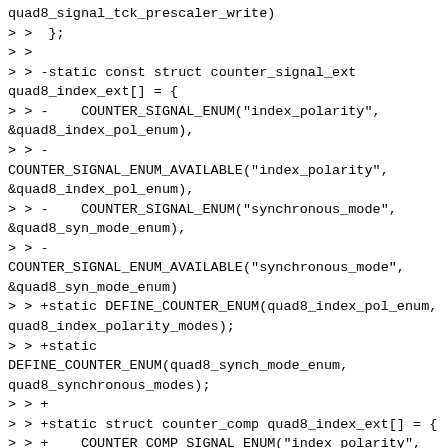quad8_signal_tck_prescaler_write)
> >  };
> >
> > -static const struct counter_signal_ext quad8_index_ext[] = {
> > -    COUNTER_SIGNAL_ENUM("index_polarity", &quad8_index_pol_enum),
> > -    COUNTER_SIGNAL_ENUM_AVAILABLE("index_polarity", &quad8_index_pol_enum),
> > -    COUNTER_SIGNAL_ENUM("synchronous_mode", &quad8_syn_mode_enum),
> > -
COUNTER_SIGNAL_ENUM_AVAILABLE("synchronous_mode", &quad8_syn_mode_enum)
> > +static DEFINE_COUNTER_ENUM(quad8_index_pol_enum, quad8_index_polarity_modes);
> > +static DEFINE_COUNTER_ENUM(quad8_synch_mode_enum, quad8_synchronous_modes);
> > +
> > +static struct counter_comp quad8_index_ext[] = {
> > +    COUNTER_COMP_SIGNAL_ENUM("index_polarity", quad8_index_polarity_get,
> > +
quad8_index_polarity_set,
> > +                            quad8_index_pol_enum),
> > +    COUNTER_COMP_SIGNAL_ENUM("synchronous_mode", quad8_synchronous_mode_get,
> > +
quad8_synchronous_mode_set,
> > +